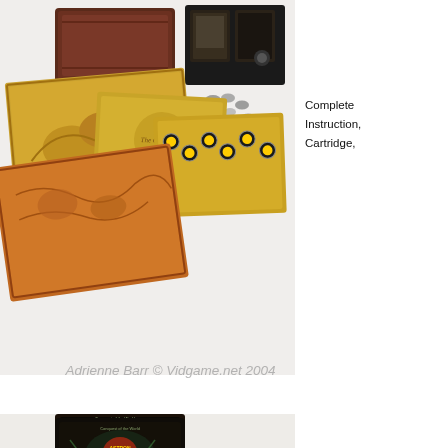[Figure (photo): Top photo: A board game set laid out showing a dark wooden box, gold-colored game boards with maps and track layouts, cards, coins/tokens, and a cartridge tray with dark plastic holder. The game appears to be a fantasy/adventure themed board game.]
Complete Instruction, Cartridge,
Adrienne Barr © Vidgame.net 2004
[Figure (photo): Bottom photo: Another board game set (Conquest of the World / Astron themed) showing a dark box with artwork, a large game board with grid and colored cards/stickers, a cartridge tray, a gold-colored booklet or card, and small colored game pieces scattered around.]
Complete Plastic Mo, Cartridge,
Adrienne Barr © Vidgame.net 2004